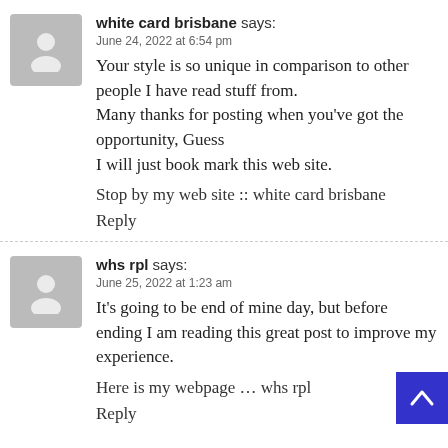[Figure (illustration): Gray avatar placeholder icon with person silhouette for first commenter]
white card brisbane says:
June 24, 2022 at 6:54 pm
Your style is so unique in comparison to other people I have read stuff from.
Many thanks for posting when you've got the opportunity, Guess
I will just book mark this web site.

Stop by my web site :: white card brisbane

Reply
[Figure (illustration): Gray avatar placeholder icon with person silhouette for second commenter]
whs rpl says:
June 25, 2022 at 1:23 am
It's going to be end of mine day, but before ending I am reading this great post to improve my experience.

Here is my webpage … whs rpl

Reply